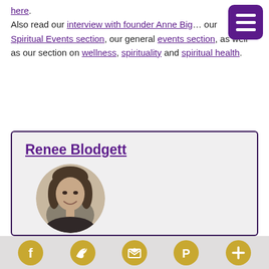here. Also read our interview with founder Anne Big… our Spiritual Events section, our general events section, as well as our section on wellness, spirituality and spiritual health.
[Figure (illustration): Purple hamburger menu button in top right corner]
Renee Blodgett
[Figure (photo): Circular portrait photo of Renee Blodgett, a woman smiling, in sepia/black and white tones]
Founder
Renee Blodgett is the founder of We Blog the
Social media icons: Facebook, Twitter, Email/RSS, Pinterest, More